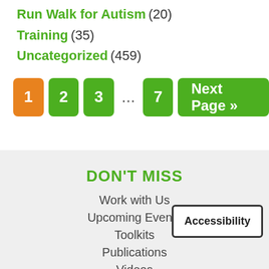Run Walk for Autism (20)
Training (35)
Uncategorized (459)
1  2  3  ...  7  Next Page »
DON'T MISS
Work with Us
Upcoming Events
Toolkits
Publications
Videos
Accessibility